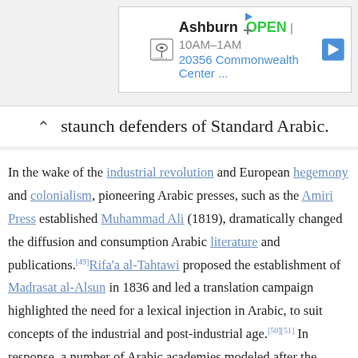[Figure (other): Advertisement banner for Topgolf Ashburn showing OPEN 10AM-1AM, 20356 Commonwealth Center...]
staunch defenders of Standard Arabic.
In the wake of the industrial revolution and European hegemony and colonialism, pioneering Arabic presses, such as the Amiri Press established Muhammad Ali (1819), dramatically changed the diffusion and consumption Arabic literature and publications.[49] Rifa'a al-Tahtawi proposed the establishment of Madrasat al-Alsun in 1836 and led a translation campaign highlighted the need for a lexical injection in Arabic, to suit concepts of the industrial and post-industrial age.[50][51] In response, a number of Arabic academies modeled after the Académie française were established with the ai